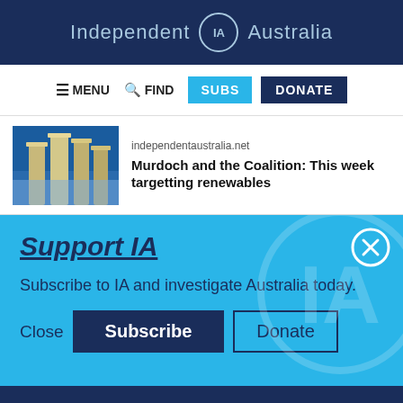Independent IA Australia
[Figure (screenshot): Navigation bar with MENU, FIND, SUBS, DONATE buttons]
[Figure (photo): Industrial tower/refinery thumbnail image]
independentaustralia.net
Murdoch and the Coalition: This week targetting renewables
Support IA
Subscribe to IA and investigate Australia today.
Social media icons: Twitter, Facebook, LinkedIn, Flipboard, Link, Plus